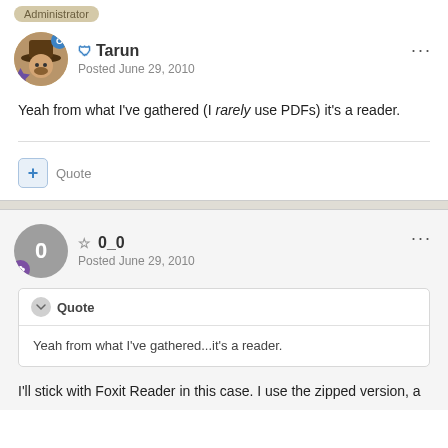Administrator
Tarun
Posted June 29, 2010
Yeah from what I've gathered (I rarely use PDFs) it's a reader.
Quote
0_0
Posted June 29, 2010
Quote
Yeah from what I've gathered...it's a reader.
I'll stick with Foxit Reader in this case. I use the zipped version, a